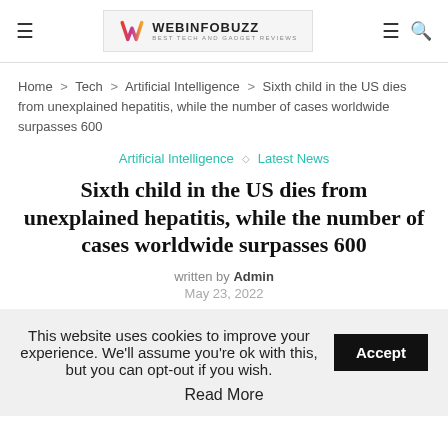WebInfoBuzz - Best Tech and Gadget Reviews
Home > Tech > Artificial Intelligence > Sixth child in the US dies from unexplained hepatitis, while the number of cases worldwide surpasses 600
Artificial Intelligence ◇ Latest News
Sixth child in the US dies from unexplained hepatitis, while the number of cases worldwide surpasses 600
written by Admin
May 23, 2022
This website uses cookies to improve your experience. We'll assume you're ok with this, but you can opt-out if you wish. Accept
Read More